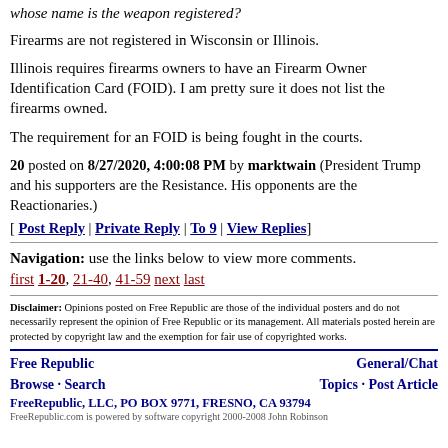whose name is the weapon registered?
Firearms are not registered in Wisconsin or Illinois.
Illinois requires firearms owners to have an Firearm Owner Identification Card (FOID). I am pretty sure it does not list the firearms owned.
The requirement for an FOID is being fought in the courts.
20 posted on 8/27/2020, 4:00:08 PM by marktwain (President Trump and his supporters are the Resistance. His opponents are the Reactionaries.) [ Post Reply | Private Reply | To 9 | View Replies]
Navigation: use the links below to view more comments. first 1-20, 21-40, 41-59 next last
Disclaimer: Opinions posted on Free Republic are those of the individual posters and do not necessarily represent the opinion of Free Republic or its management. All materials posted herein are protected by copyright law and the exemption for fair use of copyrighted works.
Free Republic Browse · Search General/Chat Topics · Post Article FreeRepublic, LLC, PO BOX 9771, FRESNO, CA 93794 FreeRepublic.com is powered by software copyright 2000-2008 John Robinson